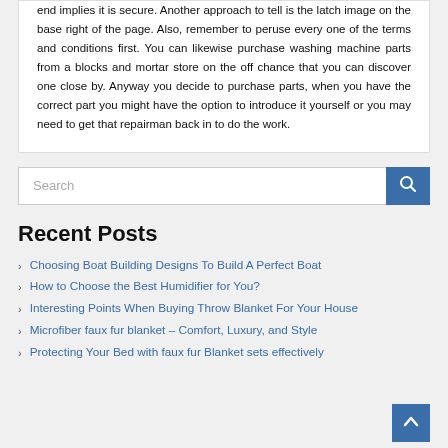end implies it is secure. Another approach to tell is the latch image on the base right of the page. Also, remember to peruse every one of the terms and conditions first. You can likewise purchase washing machine parts from a blocks and mortar store on the off chance that you can discover one close by. Anyway you decide to purchase parts, when you have the correct part you might have the option to introduce it yourself or you may need to get that repairman back in to do the work.
Search
Recent Posts
Choosing Boat Building Designs To Build A Perfect Boat
How to Choose the Best Humidifier for You?
Interesting Points When Buying Throw Blanket For Your House
Microfiber faux fur blanket – Comfort, Luxury, and Style
Protecting Your Bed with faux fur Blanket sets effectively